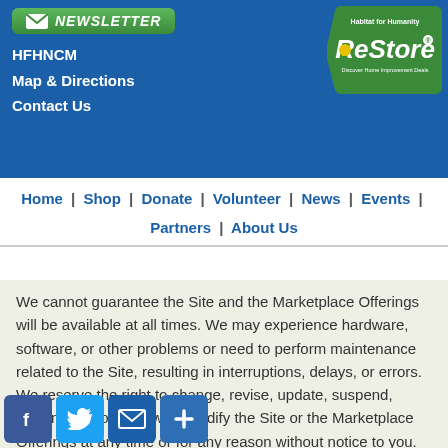NEWSLETTER | HFHNCM | Map & Directions | Contact Us
Home | Shop | Donate | Volunteer | News | Events | Partners | About Us
We cannot guarantee the Site and the Marketplace Offerings will be available at all times. We may experience hardware, software, or other problems or need to perform maintenance related to the Site, resulting in interruptions, delays, or errors. We reserve the right to change, revise, update, suspend, discontinue, or otherwise modify the Site or the Marketplace Offerings at any time or for any reason without notice to you. You agree that we have no liability whatsoever for any loss, damage, or inconvenience caused by your inability to access or use the Site or the Marketplace Offerings during any downtime or discontinuance of the Site or the Marketplace